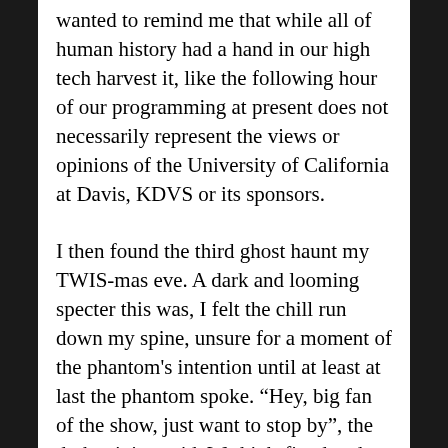wanted to remind me that while all of human history had a hand in our high tech harvest it, like the following hour of our programming at present does not necessarily represent the views or opinions of the University of California at Davis, KDVS or its sponsors.
I then found the third ghost haunt my TWIS-mas eve. A dark and looming specter this was, I felt the chill run down my spine, unsure for a moment of the phantom's intention until at least at last the phantom spoke. “Hey, big fan of the show, just want to stop by”, the dark minion said. We high-fived and popped the rock.